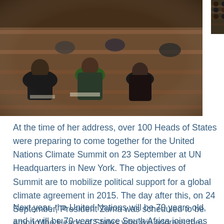[Figure (photo): Left photo: People seated at desks in a formal assembly or lecture hall, showing individuals in formal attire including a woman in a green hijab, taken from close range. Right photo (top): An overhead or wide view of people seated in rows in an assembly hall.]
At the time of her address, over 100 Heads of States were preparing to come together for the United Nations Climate Summit on 23 September at UN Headquarters in New York. The objectives of Summit are to mobilize political support for a global climate agreement in 2015. The day after this, on 24 September, President Zuma was scheduled to be among the Heads of States who will address the 69th session of the United Nations General Assembly in New York – the world's largest annual gathering of Heads of State.
Next year, the United Nations will be 70 years old, and it will be 70 years since South Africa joined as one of the 51